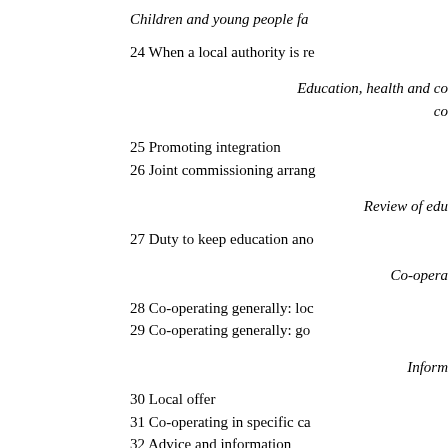Children and young people fa...
24 When a local authority is re...
Education, health and ca... co...
25 Promoting integration
26 Joint commissioning arrang...
Review of edu...
27 Duty to keep education ano...
Co-opera...
28 Co-operating generally: loc...
29 Co-operating generally: go...
Inform...
30 Local offer
31 Co-operating in specific ca...
32 Advice and information
Mains...